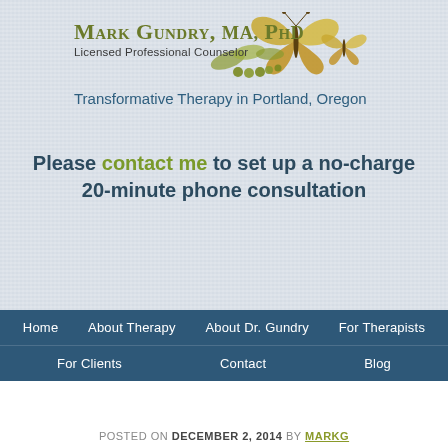[Figure (logo): Mark Gundry MA PhD logo with butterfly illustration and caterpillar/leaves]
Mark Gundry, MA, PhD
Licensed Professional Counselor
Transformative Therapy in Portland, Oregon
Please contact me to set up a no-charge 20-minute phone consultation
Home | About Therapy | About Dr. Gundry | For Therapists | For Clients | Contact | Blog
POSTED ON DECEMBER 2, 2014 BY MARKG